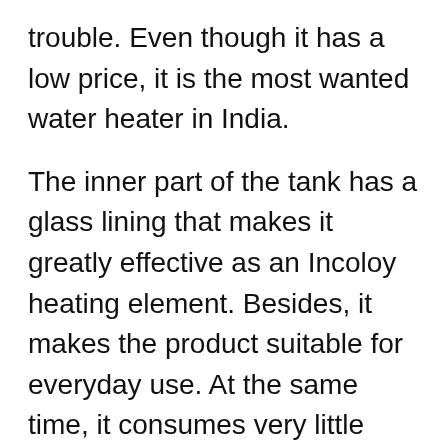trouble. Even though it has a low price, it is the most wanted water heater in India.
The inner part of the tank has a glass lining that makes it greatly effective as an Incoloy heating element. Besides, it makes the product suitable for everyday use. At the same time, it consumes very little power and has a four-star BEE rating.
Since it has a compact size, the Bajaj New Shakti suits most Indian bathrooms. Despite its small size, it has a large capacity of twenty-five liters. As a vertical water heater (geyser), it’s very durable as the coated-line tank protects it from rust and corrosion.